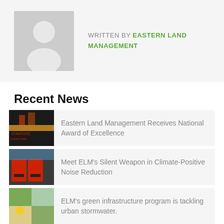WRITTEN BY EASTERN LAND MANAGEMENT
Recent News
Eastern Land Management Receives National Award of Excellence
Meet ELM's Silent Weapon in Climate-Positive Noise Reduction
ELM's green infrastructure program is tackling urban stormwater.
Wildflowers Are Transforming Former Corporate Places